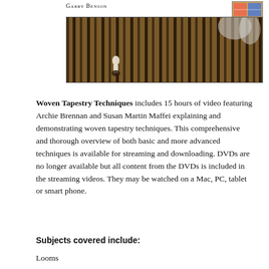Garry Benson
[Figure (photo): Close-up photograph of a woven tapestry with brown, black, and white threads showing intricate patterns with a small white figure visible in the lower left portion]
Woven Tapestry Techniques includes 15 hours of video featuring Archie Brennan and Susan Martin Maffei explaining and demonstrating woven tapestry techniques. This comprehensive and thorough overview of both basic and more advanced techniques is available for streaming and downloading. DVDs are no longer available but all content from the DVDs is included in the streaming videos. They may be watched on a Mac, PC, tablet or smart phone.
Subjects covered include:
Looms